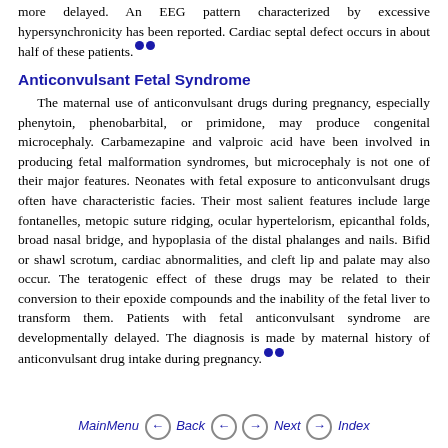more delayed. An EEG pattern characterized by excessive hypersynchronicity has been reported. Cardiac septal defect occurs in about half of these patients.
Anticonvulsant Fetal Syndrome
The maternal use of anticonvulsant drugs during pregnancy, especially phenytoin, phenobarbital, or primidone, may produce congenital microcephaly. Carbamezapine and valproic acid have been involved in producing fetal malformation syndromes, but microcephaly is not one of their major features. Neonates with fetal exposure to anticonvulsant drugs often have characteristic facies. Their most salient features include large fontanelles, metopic suture ridging, ocular hypertelorism, epicanthal folds, broad nasal bridge, and hypoplasia of the distal phalanges and nails. Bifid or shawl scrotum, cardiac abnormalities, and cleft lip and palate may also occur. The teratogenic effect of these drugs may be related to their conversion to their epoxide compounds and the inability of the fetal liver to transform them. Patients with fetal anticonvulsant syndrome are developmentally delayed. The diagnosis is made by maternal history of anticonvulsant drug intake during pregnancy.
MainMenu  Back  Next  Index